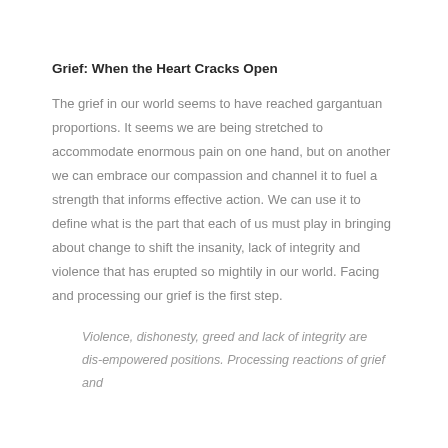Grief: When the Heart Cracks Open
The grief in our world seems to have reached gargantuan proportions. It seems we are being stretched to accommodate enormous pain on one hand, but on another we can embrace our compassion and channel it to fuel a strength that informs effective action. We can use it to define what is the part that each of us must play in bringing about change to shift the insanity, lack of integrity and violence that has erupted so mightily in our world. Facing and processing our grief is the first step.
Violence, dishonesty, greed and lack of integrity are dis-empowered positions. Processing reactions of grief and